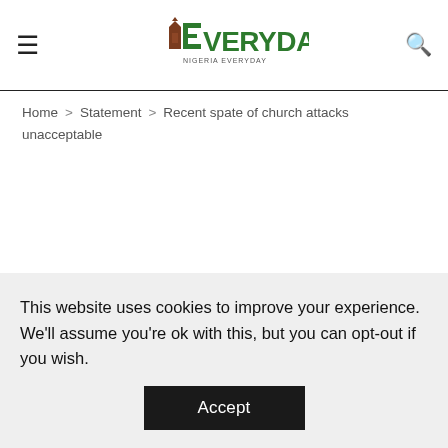≡  [Everyday Nigeria Logo]  🔍
Home > Statement > Recent spate of church attacks unacceptable
This website uses cookies to improve your experience. We'll assume you're ok with this, but you can opt-out if you wish. Accept